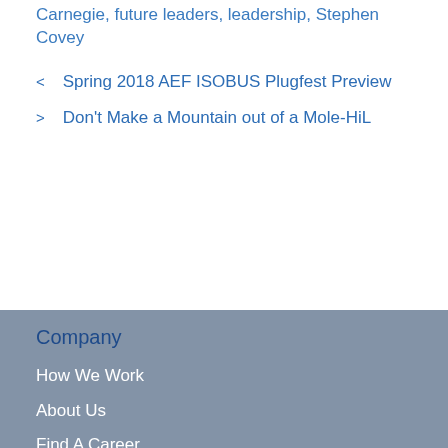Carnegie, future leaders, leadership, Stephen Covey
< Spring 2018 AEF ISOBUS Plugfest Preview
> Don't Make a Mountain out of a Mole-HiL
[Figure (illustration): Grey-blue wave shape dividing the white top section from the grey-blue bottom footer section]
Company
How We Work
About Us
Find A Career